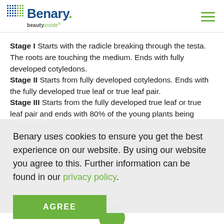Benary beautyinside
Stage I Starts with the radicle breaking through the testa. The roots are touching the medium. Ends with fully developed cotyledons.
Stage II Starts from fully developed cotyledons. Ends with the fully developed true leaf or true leaf pair.
Stage III Starts from the fully developed true leaf or true leaf pair and ends with 80% of the young plants being marketable.
Benary uses cookies to ensure you get the best experience on our website. By using our website you agree to this. Further information can be found in our privacy policy.
AGREE